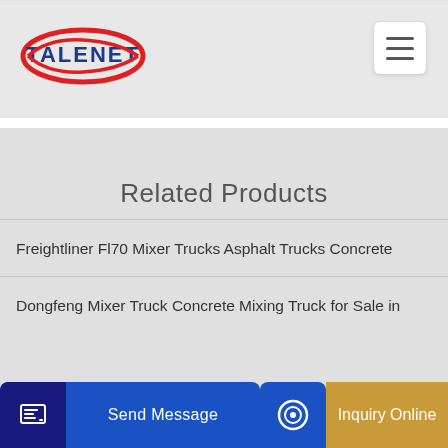[Figure (logo): Talenet company logo with red ellipse and blue text]
[Figure (other): Hamburger menu button with three horizontal lines]
Related Products
Freightliner Fl70 Mixer Trucks Asphalt Trucks Concrete
Dongfeng Mixer Truck Concrete Mixing Truck for Sale in
Send Message
Inquiry Online